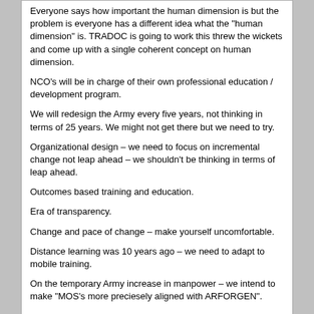Everyone says how important the human dimension is but the problem is everyone has a different idea what the "human dimension" is. TRADOC is going to work this threw the wickets and come up with a single coherent concept on human dimension.

NCO's will be in charge of their own professional education / development program.

We will redesign the Army every five years, not thinking in terms of 25 years. We might not get there but we need to try.

Organizational design – we need to focus on incremental change not leap ahead – we shouldn't be thinking in terms of leap ahead.

Outcomes based training and education.

Era of transparency.

Change and pace of change – make yourself uncomfortable.

Distance learning was 10 years ago – we need to adapt to mobile training.

On the temporary Army increase in manpower – we intend to make "MOS's more preciesely aligned with ARFORGEN".

Bumper sticker for the SLC – The Military Power of Our Nation Will be Measured by Our Ability to Adapt.
Schmedlap | 08-19-2009, 02:15 PM

Can any of these leaders at the TRADOC conference think of some bold and innovative change made (or permitted) at the company/battery/troop level or below?

I just read an old SWJ article, COIN Perspectives From On Point: Lessons